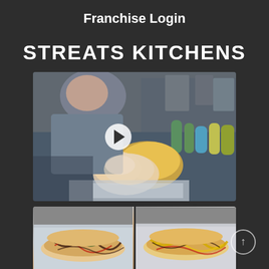Franchise Login
STREATS KITCHENS
[Figure (photo): A person wearing a glove preparing/squeezing food in a kitchen setting, shown as a video thumbnail with a play button overlay]
[Figure (photo): Two hot dogs/street food items with sauces and toppings side by side on a tray]